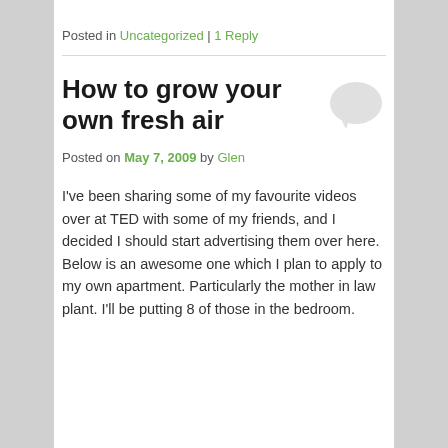Posted in Uncategorized | 1 Reply
How to grow your own fresh air
Posted on May 7, 2009 by Glen
I've been sharing some of my favourite videos over at TED with some of my friends, and I decided I should start advertising them over here. Below is an awesome one which I plan to apply to my own apartment. Particularly the mother in law plant. I'll be putting 8 of those in the bedroom.